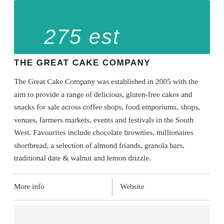[Figure (logo): Teal header banner with white cursive/script text showing partial logo text '275 est']
THE GREAT CAKE COMPANY
The Great Cake Company was established in 2005 with the aim to provide a range of delicious, gluten-free cakes and snacks for sale across coffee shops, food emporiums, shops, venues, farmers markets, events and festivals in the South West. Favourites include chocolate brownies, millionaires shortbread, a selection of almond friands, granola bars, traditional date & walnut and lemon drizzle.
More info
Website